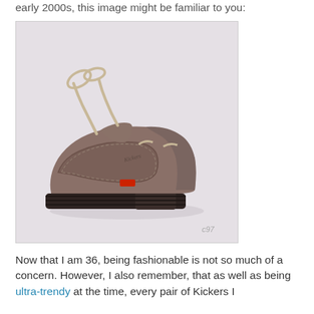early 2000s, this image might be familiar to you:
[Figure (photo): A brown Kickers brand heeled boat shoe/loafer with lug sole, rope laces, and a red Kickers logo tag, photographed on a light grey/purple background. Watermark 'c97' in bottom right corner.]
Now that I am 36, being fashionable is not so much of a concern. However, I also remember, that as well as being ultra-trendy at the time, every pair of Kickers I